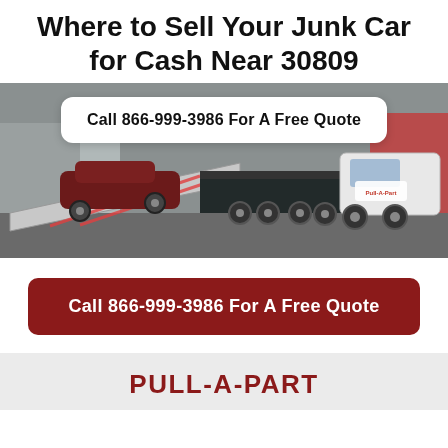Where to Sell Your Junk Car for Cash Near 30809
[Figure (photo): A flatbed tow truck carrying vehicles at a salvage yard, with red car visible on the ramp and a white Pull-A-Part branded truck cab on the right side.]
Call 866-999-3986 For A Free Quote
Call 866-999-3986 For A Free Quote
PULL-A-PART